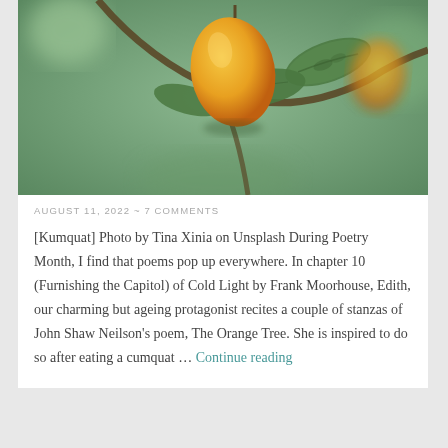[Figure (photo): Close-up photo of kumquat fruits hanging on a tree branch with green leaves, against a soft green blurred background. The fruit is yellow-orange and elongated.]
AUGUST 11, 2022 ~ 7 COMMENTS
[Kumquat] Photo by Tina Xinia on Unsplash During Poetry Month, I find that poems pop up everywhere. In chapter 10 (Furnishing the Capitol) of Cold Light by Frank Moorhouse, Edith, our charming but ageing protagonist recites a couple of stanzas of John Shaw Neilson's poem, The Orange Tree. She is inspired to do so after eating a cumquat … Continue reading